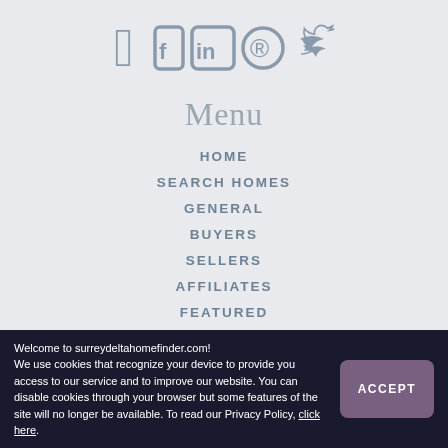[Figure (illustration): Social media icons: Facebook, LinkedIn, Pinterest, Twitter in muted blue-grey color]
Menu
HOME
SEARCH HOMES
GENERAL
BUYERS
SELLERS
AFFILIATES
FEATURED
MY NOTEBOOK
ABOUT
BLOG (partial)
Welcome to surreydeltahomefinder.com! We use cookies that recognize your device to provide you access to our service and to improve our website. You can disable cookies through your browser but some features of the site will no longer be available. To read our Privacy Policy, click here.